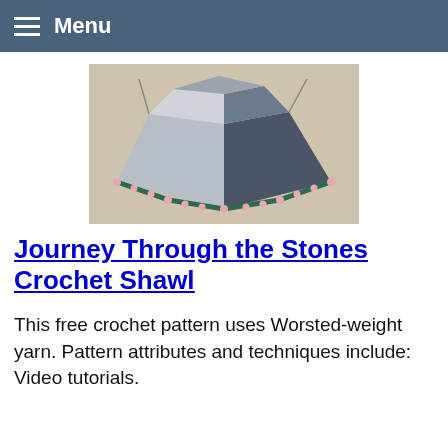Menu
[Figure (photo): A triangular crochet shawl hung on a wall, featuring grey, dark teal, and pink lace edging sections.]
Journey Through the Stones Crochet Shawl
This free crochet pattern uses Worsted-weight yarn. Pattern attributes and techniques include: Video tutorials.